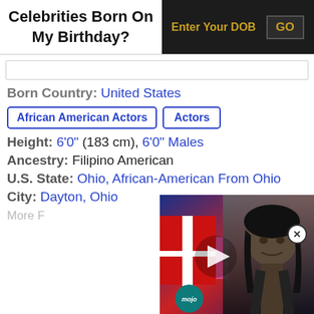Celebrities Born On My Birthday?
Enter Your DOB  GO
Born Country: United States
African American Actors
Actors
Height: 6'0" (183 cm), 6'0" Males
Ancestry: Filipino American
U.S. State: Ohio, African-American From Ohio
City: Dayton, Ohio
More F
[Figure (photo): Video thumbnail showing a wrestler/celebrity with a play button overlay and mojo logo badge, set against colorful stage lighting background]